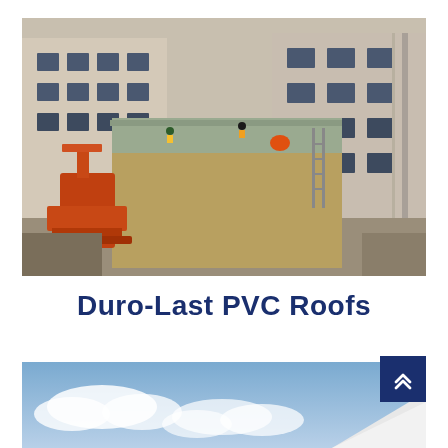[Figure (photo): Aerial view of a multi-story building under construction with a flat roof being installed. Workers in high-visibility vests are visible on the lower roof, and an orange construction crane is on the left side. The building surrounds a central courtyard area.]
Duro-Last PVC Roofs
[Figure (photo): Partial view of a rooftop with a white membrane surface visible in the foreground-right, and a blue sky with clouds in the background.]